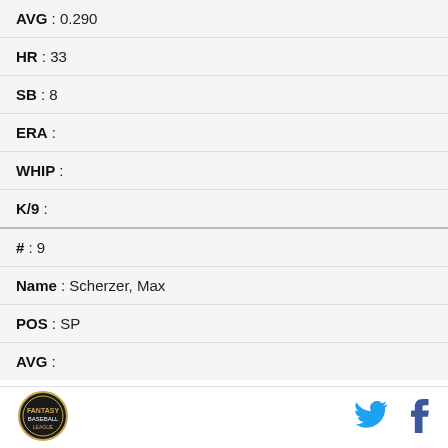| AVG : 0.290 |
| HR : 33 |
| SB : 8 |
| ERA : |
| WHIP : |
| K/9 : |
| # : 9 |
| Name : Scherzer, Max |
| POS : SP |
| AVG : |
| HR : |
[Figure (logo): Baseball league circular logo in bottom left footer]
[Figure (logo): Twitter bird icon in blue]
[Figure (logo): Facebook f icon in blue]